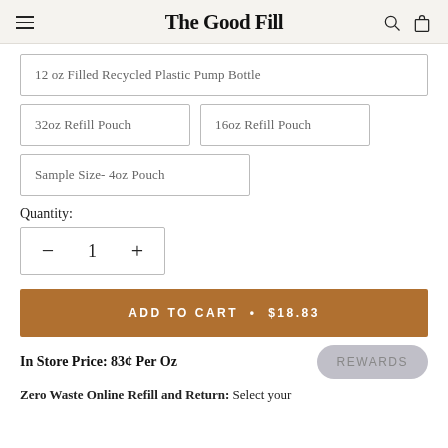The Good Fill
12 oz Filled Recycled Plastic Pump Bottle
32oz Refill Pouch
16oz Refill Pouch
Sample Size- 4oz Pouch
Quantity:
− 1 +
ADD TO CART • $18.83
In Store Price: 83¢ Per Oz
REWARDS
Zero Waste Online Refill and Return: Select your